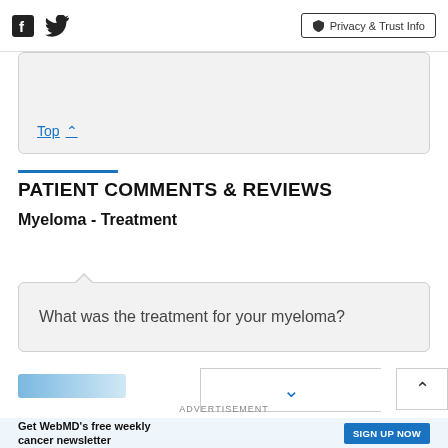Facebook Twitter | Privacy & Trust Info
Top ∧
PATIENT COMMENTS & REVIEWS
Myeloma - Treatment
What was the treatment for your myeloma?
ADVERTISEMENT
Get WebMD's free weekly cancer newsletter  SIGN UP NOW